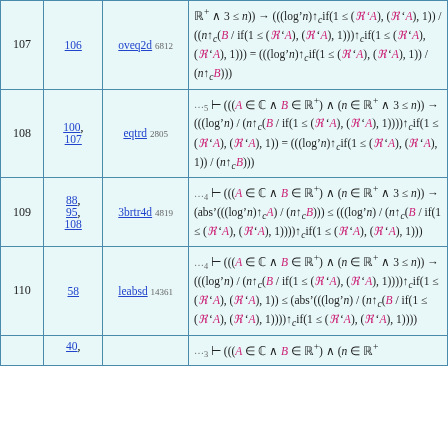| # | Refs | Rule | Formula |
| --- | --- | --- | --- |
| 107 | 106 | oveq2d 6812 | ℝ⁺ ∧ 3 ≤ n)) → (((log'n)↑_c if(1 ≤ (ℜ'A), (ℜ'A), 1)) / ((n↑_c(B / if(1 ≤ (ℜ'A), (ℜ'A), 1)))↑_c if(1 ≤ (ℜ'A), (ℜ'A), 1))) = (((log'n)↑_c if(1 ≤ (ℜ'A), (ℜ'A), 1)) / (n↑_c B))) |
| 108 | 100, 107 | eqtrd 2805 | ....5 ⊢ (((A ∈ C ∧ B ∈ ℝ⁺) ∧ (n ∈ ℝ⁺ ∧ 3 ≤ n)) → (((log'n) / (n↑_c(B / if(1 ≤ (ℜ'A), (ℜ'A), 1))))↑_c if(1 ≤ (ℜ'A), (ℜ'A), 1)) = (((log'n)↑_c if(1 ≤ (ℜ'A), (ℜ'A), 1)) / (n↑_c B))) |
| 109 | 88, 95, 108 | 3brtr4d 4819 | ...4 ⊢ (((A ∈ C ∧ B ∈ ℝ⁺) ∧ (n ∈ ℝ⁺ ∧ 3 ≤ n)) → (abs'(((log'n)↑_c A) / (n↑_c B))) ≤ (((log'n) / (n↑_c(B / if(1 ≤ (ℜ'A), (ℜ'A), 1))))↑_c if(1 ≤ (ℜ'A), (ℜ'A), 1))) |
| 110 | 58 | leabsd 14361 | ...4 ⊢ (((A ∈ C ∧ B ∈ ℝ⁺) ∧ (n ∈ ℝ⁺ ∧ 3 ≤ n)) → (((log'n) / (n↑_c(B / if(1 ≤ (ℜ'A), (ℜ'A), 1))))↑_c if(1 ≤ (ℜ'A), (ℜ'A), 1)) ≤ (abs'(((log'n) / (n↑_c(B / if(1 ≤ (ℜ'A), (ℜ'A), 1))))↑_c if(1 ≤ (ℜ'A), (ℜ'A), 1)))) |
|  | 40, |  | ...3 ⊢ (((A ∈ C ∧ B ∈ ℝ⁺) ∧ (n ∈ ℝ⁺ ... |